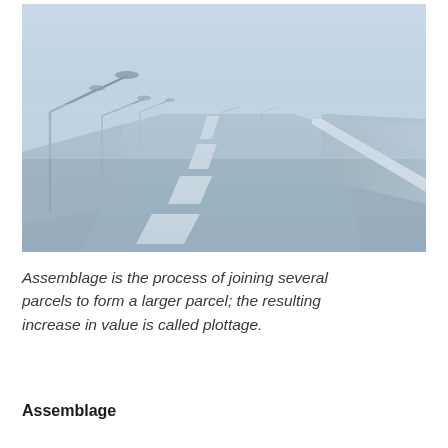[Figure (photo): A foggy multi-lane highway or bridge road receding into misty distance, with street lights on the left side. The road surface is wet/grey-blue, with white dashed lane markings and a solid white line on the right edge. The atmosphere is hazy and blue-grey.]
Assemblage is the process of joining several parcels to form a larger parcel; the resulting increase in value is called plottage.
Assemblage